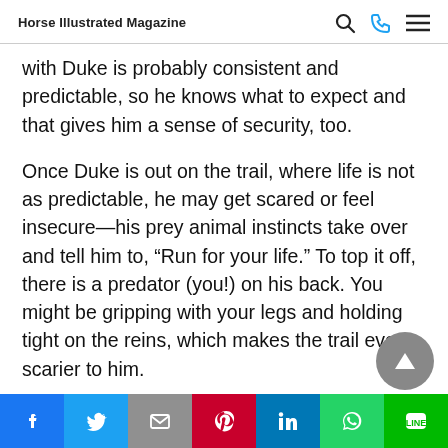Horse Illustrated Magazine
with Duke is probably consistent and predictable, so he knows what to expect and that gives him a sense of security, too.
Once Duke is out on the trail, where life is not as predictable, he may get scared or feel insecure—his prey animal instincts take over and tell him to, "Run for your life." To top it off, there is a predator (you!) on his back. You might be gripping with your legs and holding tight on the reins, which makes the trail even scarier to him.